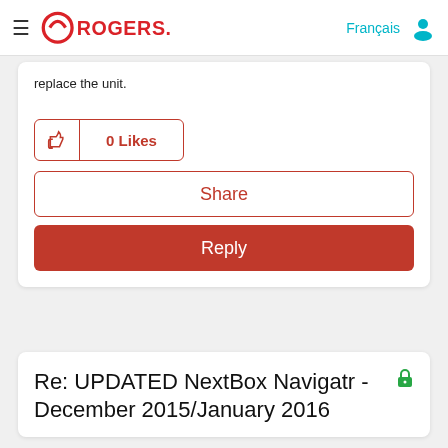Rogers — Français [user icon]
replace the unit.
0 Likes
Share
Reply
Re: UPDATED NextBox Navigatr - December 2015/January 2016